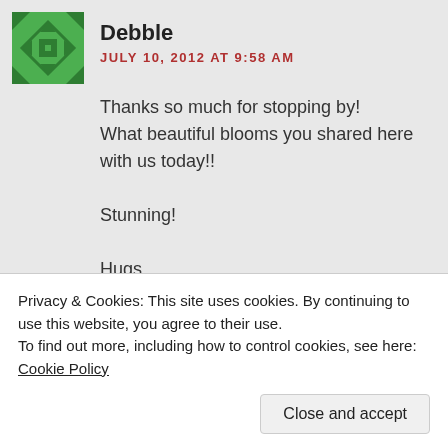[Figure (illustration): Green geometric avatar icon with diamond/grid pattern]
Debble
JULY 10, 2012 AT 9:58 AM
Thanks so much for stopping by!
What beautiful blooms you shared here with us today!!

Stunning!

Hugs,
Debbie
★ Like
Privacy & Cookies: This site uses cookies. By continuing to use this website, you agree to their use.
To find out more, including how to control cookies, see here: Cookie Policy
Close and accept